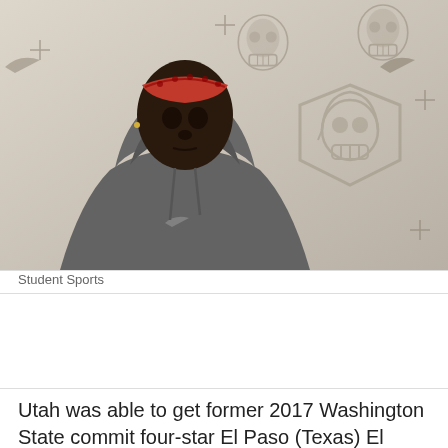[Figure (photo): Young male athlete wearing a gray Nike hoodie and red patterned headband, standing in front of a backdrop featuring skull helmet logos and Nike swoosh marks (football recruiting event backdrop).]
Student Sports
Utah was able to get former 2017 Washington State commit four-star El Paso (Texas) El Dorado wide